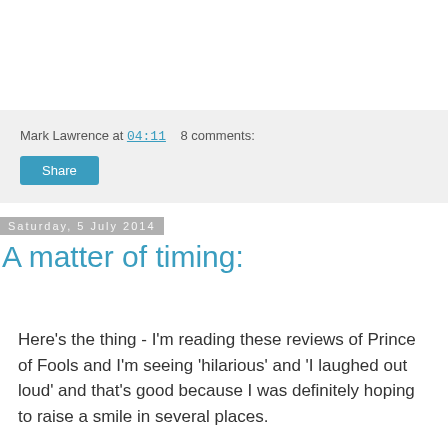Mark Lawrence at 04:11   8 comments:
Share
Saturday, 5 July 2014
A matter of timing:
Here's the thing - I'm reading these reviews of Prince of Fools and I'm seeing 'hilarious' and 'I laughed out loud' and that's good because I was definitely hoping to raise a smile in several places.